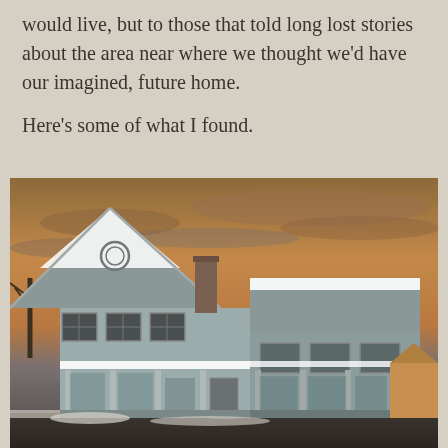would live, but to those that told long lost stories about the area near where we thought we'd have our imagined, future home.
Here's some of what I found.
[Figure (photo): A weathered, abandoned Victorian-style house photographed in winter. The two-story structure has a steep pointed gable with decorative shingle siding, multiple windows, a front porch with columns, and a chimney. Snow covers parts of the roof. The sky is dramatic with orange and grey clouds at sunset/dusk. Neighboring houses are visible in the background to the right.]